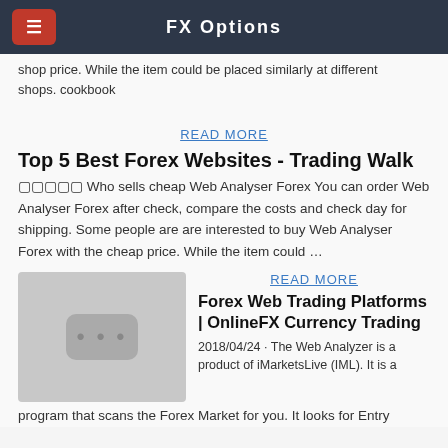FX Options
shop price. While the item could be placed similarly at different shops. cookbook
READ MORE
Top 5 Best Forex Websites - Trading Walk
□□□□□ Who sells cheap Web Analyser Forex You can order Web Analyser Forex after check, compare the costs and check day for shipping. Some people are are interested to buy Web Analyser Forex with the cheap price. While the item could ...
[Figure (photo): Thumbnail placeholder image with three dots icon]
READ MORE
Forex Web Trading Platforms | OnlineFX Currency Trading
2018/04/24 · The Web Analyzer is a product of iMarketsLive (IML). It is a program that scans the Forex Market for you. It looks for Entry